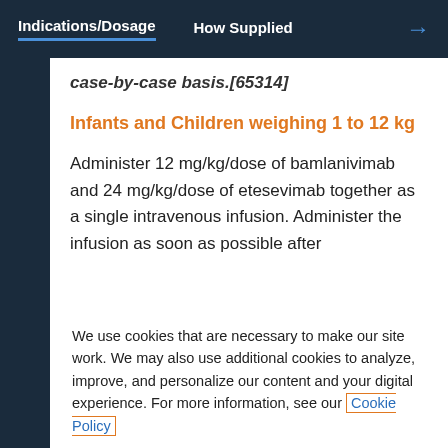Indications/Dosage  How Supplied  →
case-by-case basis.[65314]
Infants and Children weighing 1 to 12 kg
Administer 12 mg/kg/dose of bamlanivimab and 24 mg/kg/dose of etesevimab together as a single intravenous infusion. Administer the infusion as soon as possible after…
We use cookies that are necessary to make our site work. We may also use additional cookies to analyze, improve, and personalize our content and your digital experience. For more information, see our Cookie Policy
Cookie settings
Accept all cookies